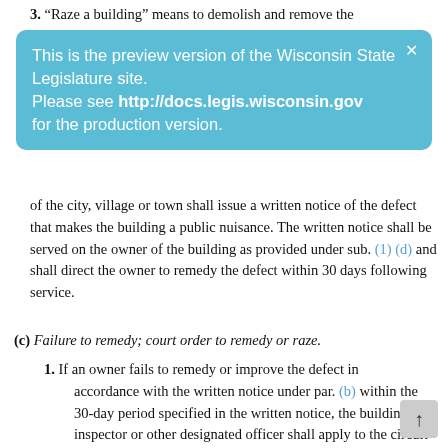3. "Raze a building" means to demolish and remove the
This is the preview version of the Wisconsin State Legislature site. Please see http://docs.legis.wisconsin.gov for the production version.
of the city, village or town shall issue a written notice of the defect that makes the building a public nuisance. The written notice shall be served on the owner of the building as provided under sub. (1) (d) and shall direct the owner to remedy the defect within 30 days following service.
(c) Failure to remedy; court order to remedy or raze.
1. If an owner fails to remedy or improve the defect in accordance with the written notice under par. (b) within the 30-day period specified in the written notice, the building inspector or other designated officer shall apply to the circuit court of the county in which the building is located for an order determining that the building constitutes a public nuisance. As a part of the application for the order from the circuit court the building inspector or other designated officer shall file a verified petition which recites the giving of written notice, the defect in the building, the owner’s failure to comply with the notice and other pertinent facts. A copy of the petition shall be served upon the owner of record or the owner’s agent if an agent is in charge of the building and upon the